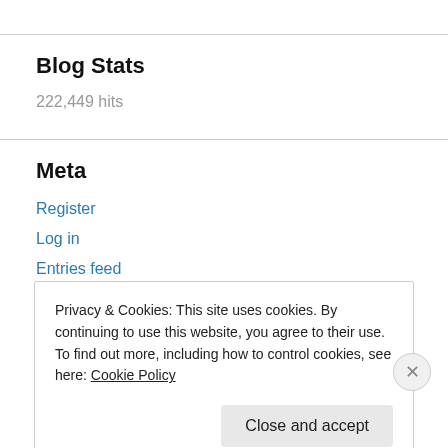Blog Stats
222,449 hits
Meta
Register
Log in
Entries feed
Comments feed
Privacy & Cookies: This site uses cookies. By continuing to use this website, you agree to their use.
To find out more, including how to control cookies, see here: Cookie Policy
Close and accept